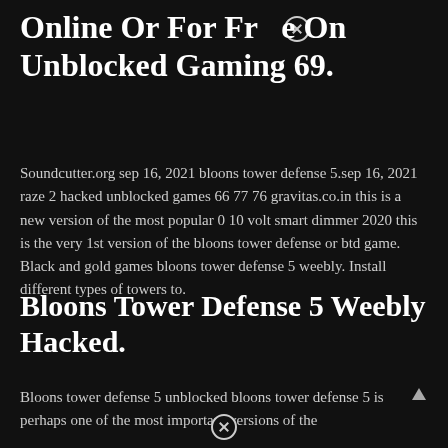Online Or For Free On Unblocked Gaming 69.
Soundcutter.org sep 16, 2021 bloons tower defense 5.sep 16, 2021 raze 2 hacked unblocked games 66 77 76 gravitas.co.in this is a new version of the most popular 0 10 volt smart dimmer 2020 this is the very 1st version of the bloons tower defense or btd game. Black and gold games bloons tower defense 5 weebly. Install different types of towers to.
Bloons Tower Defense 5 Weebly Hacked.
Bloons tower defense 5 unblocked bloons tower defense 5 is perhaps one of the most important versions of the